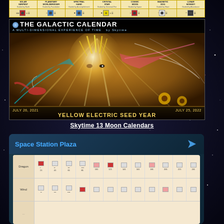[Figure (infographic): Top calendar strip showing 7 Mayan calendar day signs: Solar Serpent (Guided by Earth), Planetary Worldbridger (Guided by Foundation), Spectral Hand (Guided by Accomplishment), Crystal Star (Guided by Universal Fire), Cosmic Moon (Guided by Space), Magnetic Dog (Guided by Heart), Lunar Monkey (Guided by Abundance). Each with icon symbols in red, blue, yellow, white, and dark colors.]
[Figure (illustration): The Galactic Calendar book cover artwork showing a multi-dimensional spiritual figure with golden headdress rays, teal and pink wing-like elements, sunflowers, hummingbird. Text overlay: 'THE GALACTIC CALENDAR - A MULTI-DIMENSIONAL EXPERIENCE OF TIME by Skytime'. Footer: 'JULY 26, 2021 ... JULY 25, 2022 / YELLOW ELECTRIC SEED YEAR']
Skytime 13 Moon Calendars
[Figure (screenshot): Space Station Plaza app card with teal arrow icon. Shows a calendar grid with Mayan day signs including Dragon row with numbered cells (21, 41, 61, 81, 101, 121, 141, 161, 181, 201, 221, 241) some highlighted in red and pink. Wind row partially visible below.]